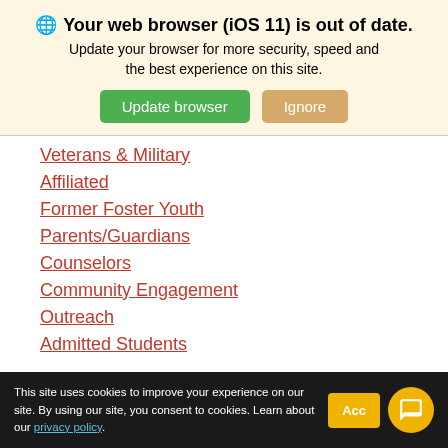[Figure (screenshot): Browser update warning banner with globe icon, bold title 'Your web browser (iOS 11) is out of date.', subtitle text, and two buttons: 'Update browser' (green) and 'Ignore' (tan)]
Veterans & Military
Affiliated
Former Foster Youth
Parents/Guardians
Counselors
Community Engagement
Outreach
Admitted Students
MAJORS
DATES/DEADLINES
This site uses cookies to improve your experience on our site. By using our site, you consent to cookies. Learn about our privacy policy.